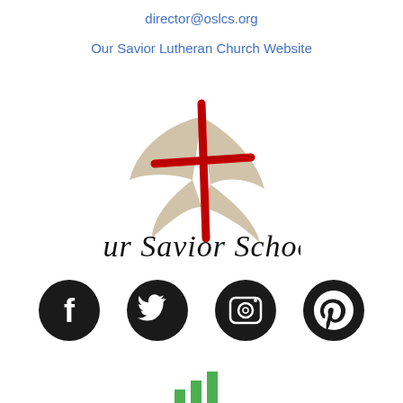director@oslcs.org
Our Savior Lutheran Church Website
[Figure (logo): Our Savior School logo: a dove/cross design in tan/beige with a red cross, and the text 'Our Savior School' in italic serif below]
[Figure (infographic): Four social media icons in black circles: Facebook, Twitter, Instagram, Pinterest]